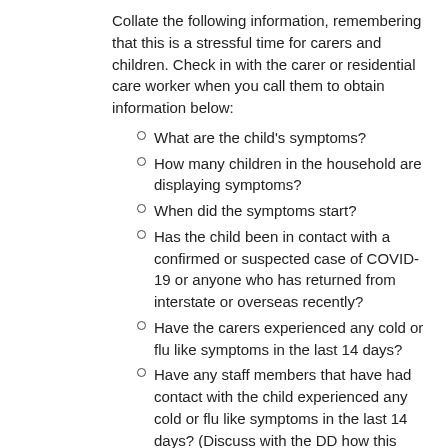Collate the following information, remembering that this is a stressful time for carers and children. Check in with the carer or residential care worker when you call them to obtain information below:
What are the child's symptoms?
How many children in the household are displaying symptoms?
When did the symptoms start?
Has the child been in contact with a confirmed or suspected case of COVID-19 or anyone who has returned from interstate or overseas recently?
Have the carers experienced any cold or flu like symptoms in the last 14 days?
Have any staff members that have had contact with the child experienced any cold or flu like symptoms in the last 14 days? (Discuss with the DD how this information will be obtained from Department staff members).
Is the child already in isolation? If so, when did they commence isolation?
Are there any other children in the CEO's care in the care arrangement? If yes: